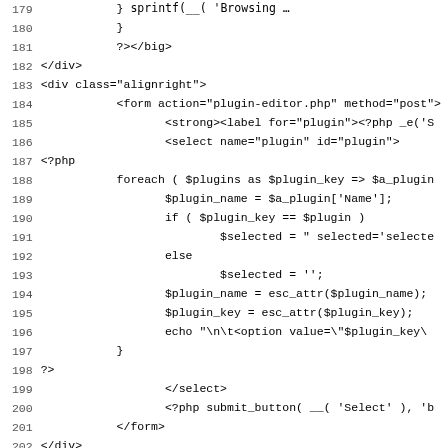PHP/HTML source code lines 179-211, showing plugin editor code with line numbers
[Figure (screenshot): Source code listing showing PHP and HTML code for a WordPress plugin editor, lines 179-211]